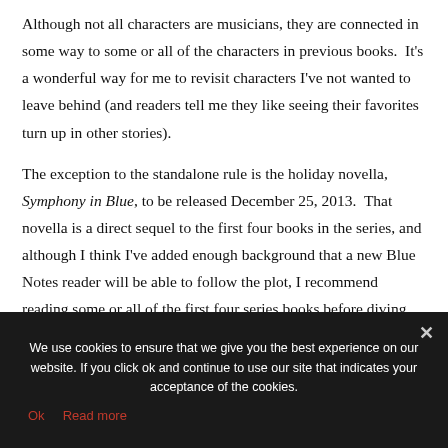Although not all characters are musicians, they are connected in some way to some or all of the characters in previous books.  It's a wonderful way for me to revisit characters I've not wanted to leave behind (and readers tell me they like seeing their favorites turn up in other stories).
The exception to the standalone rule is the holiday novella, Symphony in Blue, to be released December 25, 2013.  That novella is a direct sequel to the first four books in the series, and although I think I've added enough background that a new Blue Notes reader will be able to follow the plot, I recommend reading some or all of the first four series books before diving into it!
We use cookies to ensure that we give you the best experience on our website. If you click ok and continue to use our site that indicates your acceptance of the cookies.
Ok   Read more